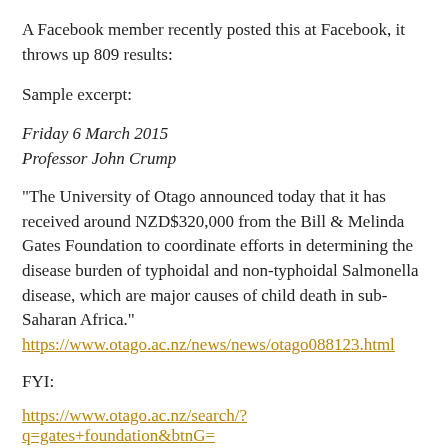A Facebook member recently posted this at Facebook, it throws up 809 results:
Sample excerpt:
Friday 6 March 2015
Professor John Crump
"The University of Otago announced today that it has received around NZD$320,000 from the Bill & Melinda Gates Foundation to coordinate efforts in determining the disease burden of typhoidal and non-typhoidal Salmonella disease, which are major causes of child death in sub-Saharan Africa." https://www.otago.ac.nz/news/news/otago088123.html
FYI:
https://www.otago.ac.nz/search/?q=gates+foundation&btnG=